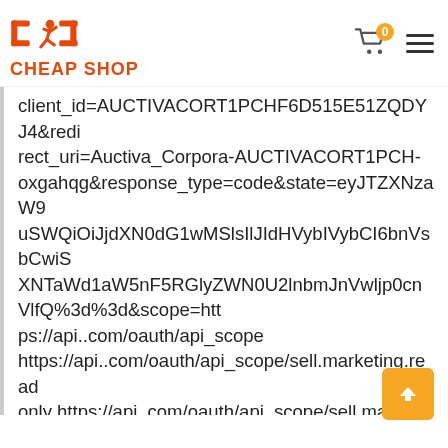CHEAP SHOP
client_id=AUCTIVACORT1PCHF6D515E51ZQDYJ4&redirect_uri=Auctiva_Corpora-AUCTIVACORT1PCH-oxgahqg&response_type=code&state=eyJTZXNzaW9uSWQiOiJjdXN0dG1wMSlsIlJIdHVybIVybCI6bnVsbCwiSXNTaWR1aW5nF5RGlyZWN0U2lnbmJnVwljp0cnVlfQ%3d%3d&scope=https://api..com/oauth/api_scope https://api..com/oauth/api_scope/sell.marketing.readonly https://api..com/oauth/api_scope/sell.marketing https://api..com/oauth/api_scope/sell.inventory.readonly https://api..com/oauth/api_scope/sell.inventory https://api..com/oauth/api_scope/sell.account.readonly https://api..com/oauth/api_scope/sell.account https://api..com/oauth/api_scope/sell.fulfillment.readonly https://api..com/oauth/api_scope/sell.fulfillment